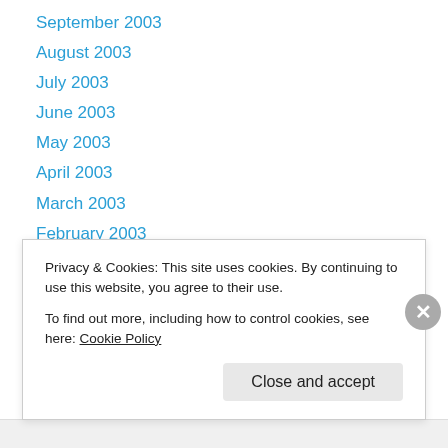September 2003
August 2003
July 2003
June 2003
May 2003
April 2003
March 2003
February 2003
January 2003
December 2002
November 2002
October 2002
September 2002
Privacy & Cookies: This site uses cookies. By continuing to use this website, you agree to their use. To find out more, including how to control cookies, see here: Cookie Policy